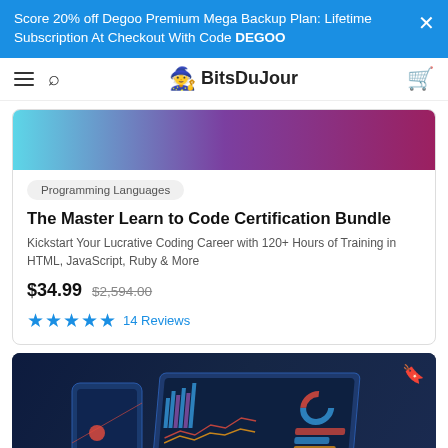Score 20% off Degoo Premium Mega Backup Plan: Lifetime Subscription At Checkout With Code DEGOO
BitsDuJour
[Figure (screenshot): Gradient banner image transitioning from teal/cyan on left to purple/magenta on right]
Programming Languages
The Master Learn to Code Certification Bundle
Kickstart Your Lucrative Coding Career with 120+ Hours of Training in HTML, JavaScript, Ruby & More
$34.99  $2,594.00
★★★★★ 14 Reviews
[Figure (illustration): Dark navy background with isometric dashboard/analytics illustration showing charts, graphs, pie charts, and data visualizations on screen-like surfaces]